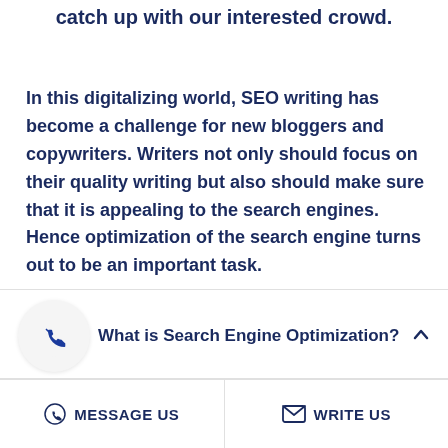catch up with our interested crowd.
In this digitalizing world, SEO writing has become a challenge for new bloggers and copywriters. Writers not only should focus on their quality writing but also should make sure that it is appealing to the search engines. Hence optimization of the search engine turns out to be an important task.
What is Search Engine Optimization?
MESSAGE US   WRITE US